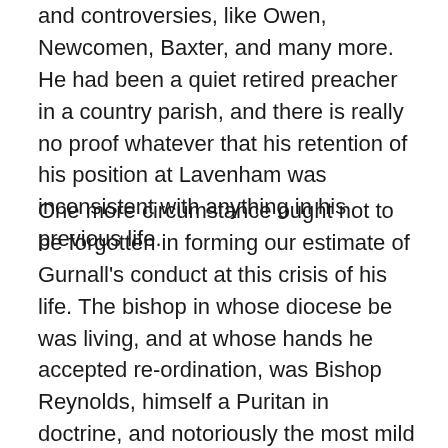and controversies, like Owen, Newcomen, Baxter, and many more. He had been a quiet retired preacher in a country parish, and there is really no proof whatever that his retention of his position at Lavenham was inconsistent with anything in his previous life.
One more circumstance ought not to be forgotten in forming our estimate of Gurnall's conduct at this crisis of his life. The bishop in whose diocese be was living, and at whose hands he accepted re-ordination, was Bishop Reynolds, himself a Puritan in doctrine, and notoriously the most mild and lenient man on the Episcopal bench in dealing with scrupulous clergymen. We cannot doubt that such a man as Reynolds would use every effort to meet Gurnall's scruples, if he had any. We cannot doubt that he would strain every nerve to retain as many of the clergy as. possible within the pale of the church, and to prevent